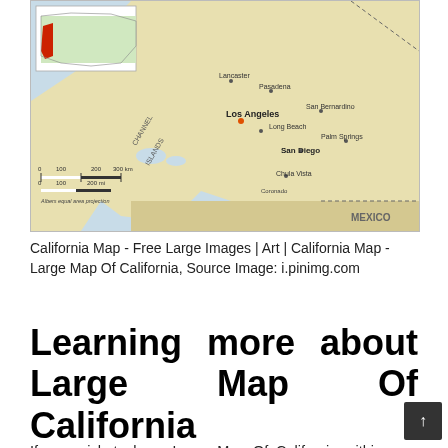[Figure (map): Map of California showing cities including Los Angeles, San Diego, San Bernardino, Lancaster, Palmdale, and surrounding areas. Includes a small inset map of the USA with California highlighted in red. Shows the Channel Islands and border with Mexico. Has a scale bar and Albers equal area projection label.]
California Map - Free Large Images | Art | California Map - Large Map Of California, Source Image: i.pinimg.com
Learning more about Large Map Of California
If you wish to have Large Map Of California within your house, very first you need to know which locations that you would like being demonstrated within the map. For more, you must also make a decision what sort of map you would like. Each and every map features its own characteristics. Here are the brief